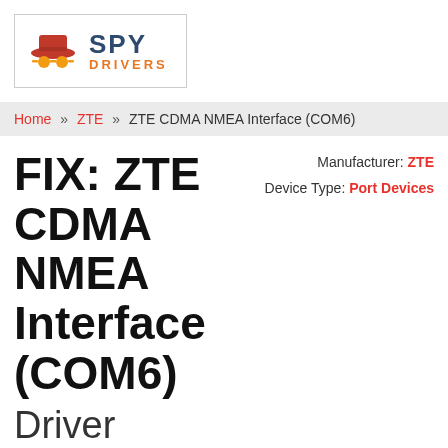[Figure (logo): Spy Drivers logo with red hat icon and orange glasses, brand name SPY DRIVERS]
Home » ZTE » ZTE CDMA NMEA Interface (COM6)
FIX: ZTE CDMA NMEA Interface (COM6) Driver
Manufacturer: ZTE  Device Type: Port Devices
Looking for the download? Click here to go straight to the download...